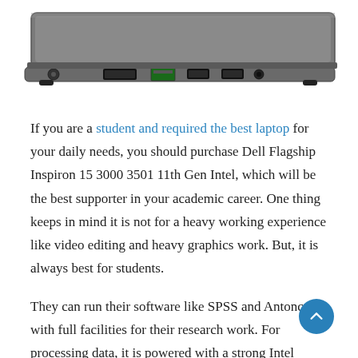[Figure (photo): Side view of a Dell Inspiron laptop showing ports including power, HDMI, Ethernet, USB, and headphone jack on a gray body.]
If you are a student and required the best laptop for your daily needs, you should purchase Dell Flagship Inspiron 15 3000 3501 11th Gen Intel, which will be the best supporter in your academic career. One thing keeps in mind it is not for a heavy working experience like video editing and heavy graphics work. But, it is always best for students.
They can run their software like SPSS and Antonc with full facilities for their research work. For processing data, it is powered with a strong Intel Quad-Core i5-1135G7 processor which boosts its speed up to 4.2GHz. It has